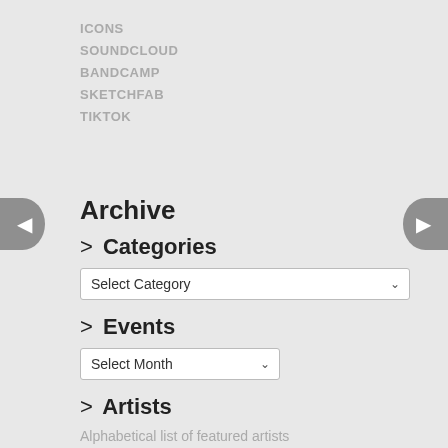ICONS
SOUNDCLOUD
BANDCAMP
SKETCHFAB
TIKTOK
Archive
> Categories
Select Category
> Events
Select Month
> Artists
Alphabetical list of featured artists